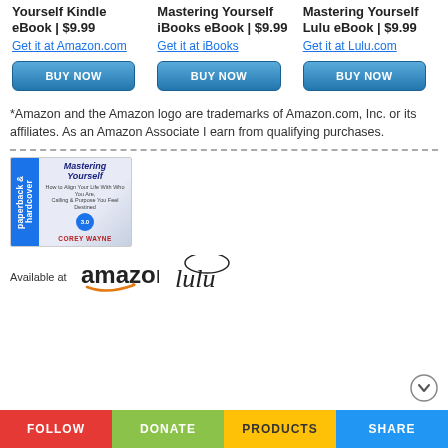Yourself Kindle eBook | $9.99
Get it at Amazon.com
BUY NOW
Mastering Yourself iBooks eBook | $9.99
Get it at iBooks
BUY NOW
Mastering Yourself Lulu eBook | $9.99
Get it at Lulu.com
BUY NOW
*Amazon and the Amazon logo are trademarks of Amazon.com, Inc. or its affiliates. As an Amazon Associate I earn from qualifying purchases.
[Figure (illustration): Book cover for Mastering Yourself by Corey Wayne, paperback & hardcover edition shown with blue spine label]
Available at
[Figure (logo): Amazon logo]
[Figure (logo): Lulu logo]
FOLLOW | DONATE | PRODUCTS | SHARE